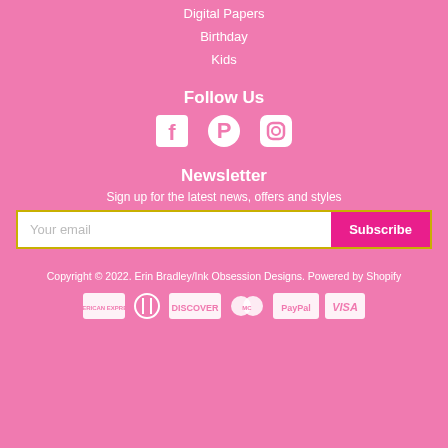Digital Papers
Birthday
Kids
Follow Us
[Figure (illustration): Social media icons: Facebook, Pinterest, Instagram]
Newsletter
Sign up for the latest news, offers and styles
Your email | Subscribe
Copyright © 2022. Erin Bradley/Ink Obsession Designs. Powered by Shopify
[Figure (logo): Payment icons: American Express, Diners Club, Discover, MasterCard, PayPal, Visa]